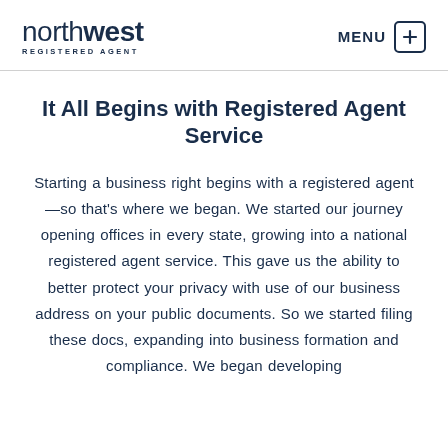northwest REGISTERED AGENT | MENU
It All Begins with Registered Agent Service
Starting a business right begins with a registered agent—so that's where we began. We started our journey opening offices in every state, growing into a national registered agent service. This gave us the ability to better protect your privacy with use of our business address on your public documents. So we started filing these docs, expanding into business formation and compliance. We began developing